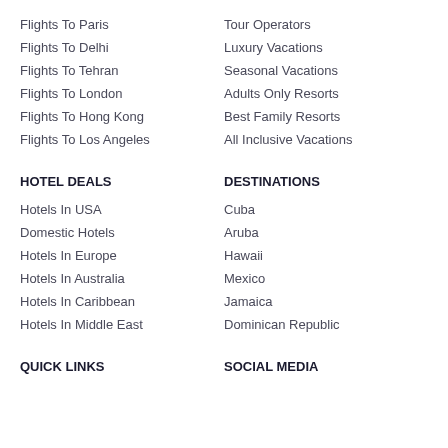Flights To Paris
Tour Operators
Flights To Delhi
Luxury Vacations
Flights To Tehran
Seasonal Vacations
Flights To London
Adults Only Resorts
Flights To Hong Kong
Best Family Resorts
Flights To Los Angeles
All Inclusive Vacations
HOTEL DEALS
DESTINATIONS
Hotels In USA
Cuba
Domestic Hotels
Aruba
Hotels In Europe
Hawaii
Hotels In Australia
Mexico
Hotels In Caribbean
Jamaica
Hotels In Middle East
Dominican Republic
QUICK LINKS
SOCIAL MEDIA